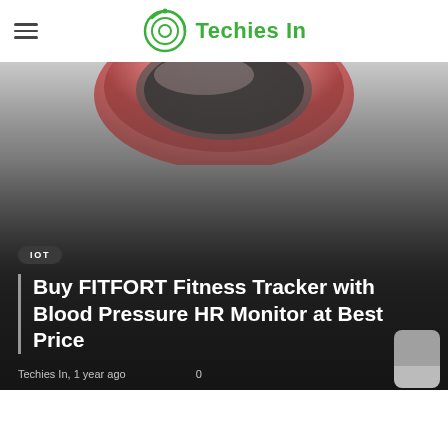Techies In
[Figure (photo): Close-up image of a pink/rose-colored fitness tracker wristband curving against a gradient dark background]
IOT
Buy FITFORT Fitness Tracker with Blood Pressure HR Monitor at Best Price
Techies In, 1 year ago   0